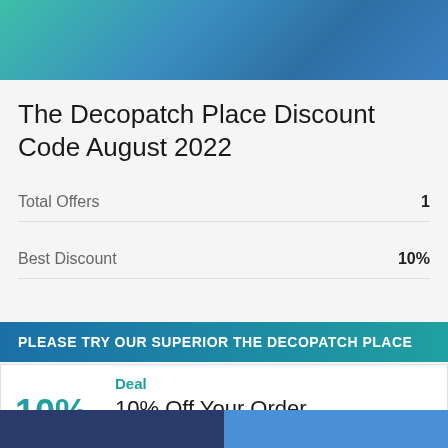[Figure (illustration): Teal to blue gradient header banner]
The Decopatch Place Discount Code August 2022
Total Offers    1
Best Discount    10%
PLEASE TRY OUR SUPERIOR THE DECOPATCH PLACE
Deal
10% Off Your Order
#1 BEST THE DECOPATCH PLACE SALE